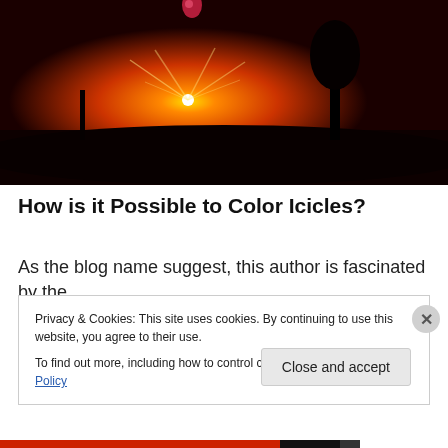[Figure (photo): Sunset photo showing a bright orange-red sky with the sun near the horizon, silhouettes of trees, and what appears to be a water droplet or small object at the top center catching the light.]
How is it Possible to Color Icicles?
As the blog name suggest, this author is fascinated by the
Privacy & Cookies: This site uses cookies. By continuing to use this website, you agree to their use.
To find out more, including how to control cookies, see here: Cookie Policy
Close and accept